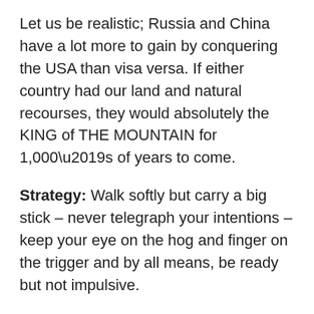Let us be realistic; Russia and China have a lot more to gain by conquering the USA than visa versa. If either country had our land and natural recourses, they would absolutely the KING of THE MOUNTAIN for 1,000’s of years to come.
Strategy: Walk softly but carry a big stick – never telegraph your intentions – keep your eye on the hog and finger on the trigger and by all means, be ready but not impulsive.
Last but not least; get rid of guys like Wicker. He is like the cops that shot first and ask questions later. He is a menace to our country. Sad to say; the USA is loaded with political and powerful lunatics’ that are a detriment to the country.